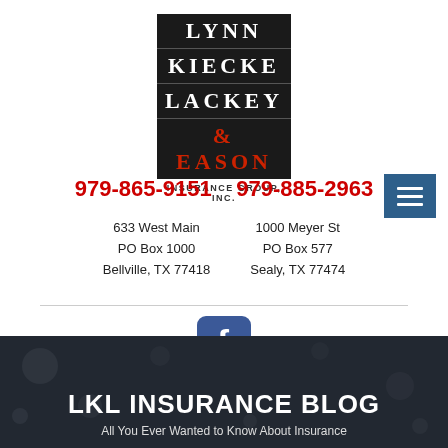[Figure (logo): Lynn Kiecke Lackey & Eason Insurance Group, Inc. logo — black block with white serif letters stacked in four rows, '& Eason' row in red]
979-865-9151    979-885-2963
633 West Main
PO Box 1000
Bellville, TX 77418
1000 Meyer St
PO Box 577
Sealy, TX 77474
[Figure (logo): Facebook icon — blue rounded square with white 'f' lettermark]
[Figure (other): Hamburger menu button — steel blue square with three white horizontal lines]
LKL INSURANCE BLOG
All You Ever Wanted to Know About Insurance